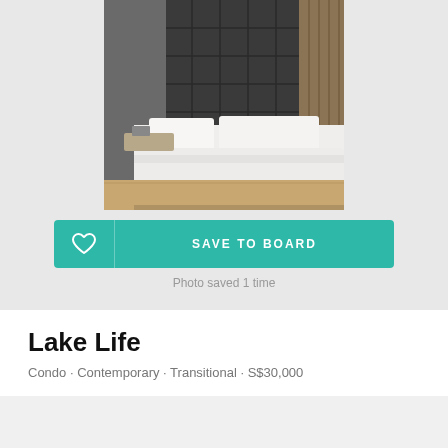[Figure (photo): Bedroom interior with large dark tiled headboard wall, white bedding, floating wooden nightstand, and warm-toned curtains. Modern condo interior design.]
SAVE TO BOARD
Photo saved 1 time
Lake Life
Condo · Contemporary · Transitional · S$30,000